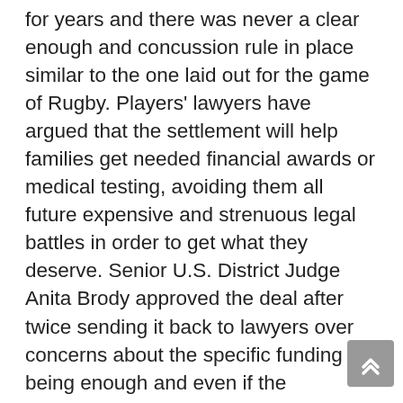for years and there was never a clear enough and concussion rule in place similar to the one laid out for the game of Rugby. Players' lawyers have argued that the settlement will help families get needed financial awards or medical testing, avoiding them all future expensive and strenuous legal battles in order to get what they deserve. Senior U.S. District Judge Anita Brody approved the deal after twice sending it back to lawyers over concerns about the specific funding not being enough and even if the negotiations did not modify the original figure set out, it was eliminated as being a capped one. On the down side for public interest though, this deal does allow the NFL to never have to disclose what it knew about the risks and treatment of concussions, which is a real shame, but the total NFL pay-outsover the 65 year period, including interest and $112m sought for lawyer fees, is expected to be more than $1bn which can be considered a